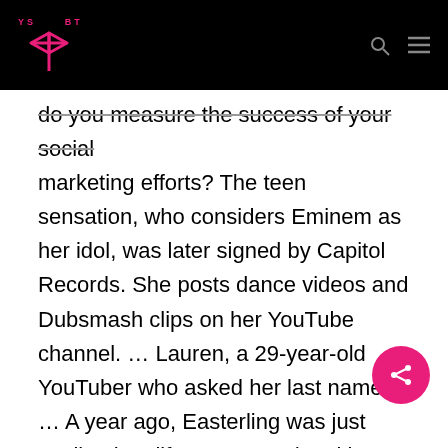YSBT logo and navigation header
do you measure the success of your social marketing efforts? The teen sensation, who considers Eminem as her idol, was later signed by Capitol Records. She posts dance videos and Dubsmash clips on her YouTube channel. … Lauren, a 29-year-old YouTuber who asked her last name … A year ago, Easterling was just settling into life at LSU and making choreographed TikToks that drew on a childhood as a competitive dancer. . It is an international version of Douyin that was originally released in the Chinese market in